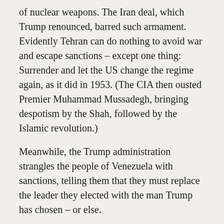of nuclear weapons. The Iran deal, which Trump renounced, barred such armament. Evidently Tehran can do nothing to avoid war and escape sanctions – except one thing: Surrender and let the US change the regime again, as it did in 1953. (The CIA then ousted Premier Muhammad Mussadegh, bringing despotism by the Shah, followed by the Islamic revolution.)
Meanwhile, the Trump administration strangles the people of Venezuela with sanctions, telling them that they must replace the leader they elected with the man Trump has chosen – or else.
He suffers no shortage of targets. The US. military is deployed in more than 150 countries. Its prominent actions rage in Afghanistan, Iraq, Somalia, Syria, and Yemen.
To continue reading...